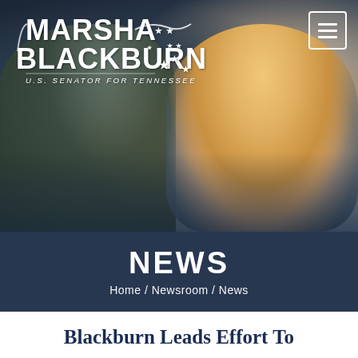[Figure (photo): Header photo of Senator Marsha Blackburn smiling, speaking with another person, dark background with campaign overlay. Logo 'MARSHA BLACKBURN U.S. Senator for Tennessee' in white text top left, hamburger menu icon top right.]
NEWS
Home / Newsroom / News
Blackburn Leads Effort To